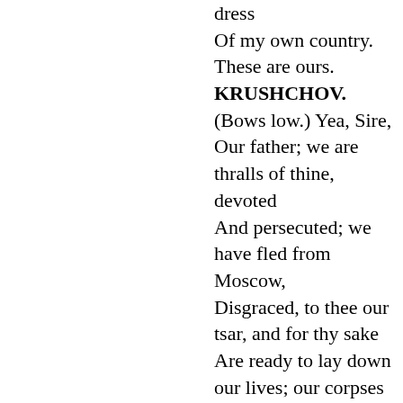dress
Of my own country. These are ours.
KRUSHCHOV. (Bows low.) Yea, Sire,
Our father; we are thralls of thine, devoted
And persecuted; we have fled from Moscow,
Disgraced, to thee our tsar, and for thy sake
Are ready to lay down our lives; our corpses
Shall be for thee steps to the royal throne.
PRETENDER. Take heart, innocent sufferers. Only let me
Reach Moscow, and, once there, Boris shall settle
Some scores with me and you. What news of Moscow?
KRUSHCHOV. As yet all there is quiet. But already
The folk have got to know that the tsarevich
Was saved; already everywhere is